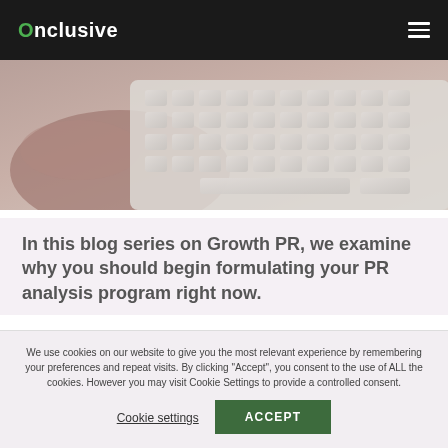Onclusive
[Figure (photo): Close-up photo of a person's hand resting on a white keyboard, muted warm tones]
In this blog series on Growth PR, we examine why you should begin formulating your PR analysis program right now.
We use cookies on our website to give you the most relevant experience by remembering your preferences and repeat visits. By clicking "Accept", you consent to the use of ALL the cookies. However you may visit Cookie Settings to provide a controlled consent.
Cookie settings
ACCEPT